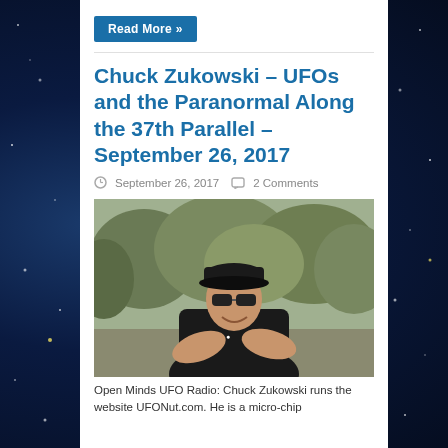[Figure (screenshot): Read More button (blue/teal background with white text)]
Chuck Zukowski – UFOs and the Paranormal Along the 37th Parallel – September 26, 2017
September 26, 2017   2 Comments
[Figure (photo): Man in black cap and sunglasses, wearing black polo, arms crossed, smiling, outdoors with shrubs in background]
Open Minds UFO Radio: Chuck Zukowski runs the website UFONut.com. He is a micro-chip